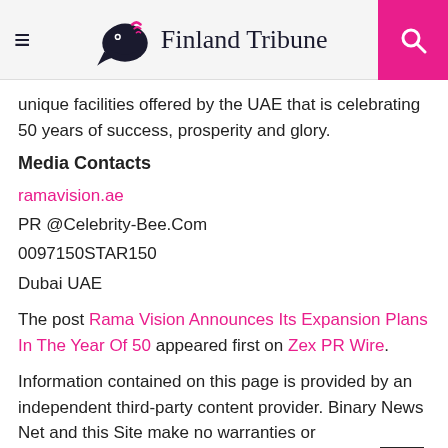Finland Tribune
unique facilities offered by the UAE that is celebrating 50 years of success, prosperity and glory.
Media Contacts
ramavision.ae
PR @Celebrity-Bee.Com
0097150STAR150
Dubai UAE
The post Rama Vision Announces Its Expansion Plans In The Year Of 50 appeared first on Zex PR Wire.
Information contained on this page is provided by an independent third-party content provider. Binary News Net and this Site make no warranties or representations in connection therewith. If you are affiliated with this page and